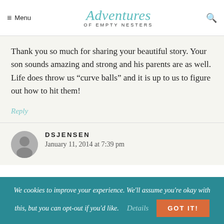Menu | Adventures of Empty Nesters
Thank you so much for sharing your beautiful story. Your son sounds amazing and strong and his parents are as well. Life does throw us “curve balls” and it is up to us to figure out how to hit them!
Reply
DSJENSEN
January 11, 2014 at 7:39 pm
We cookies to improve your experience. We'll assume you're okay with this, but you can opt-out if you'd like. Details GOT IT!